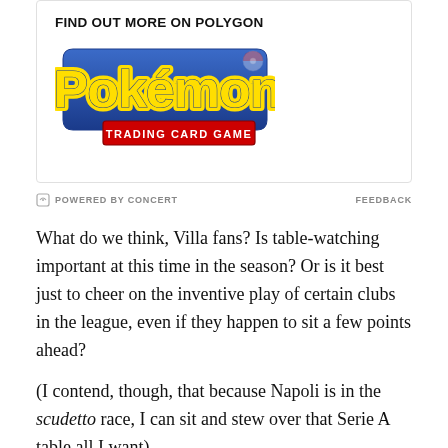[Figure (logo): Pokemon Trading Card Game logo inside an advertisement box with heading FIND OUT MORE ON POLYGON]
POWERED BY CONCERT   FEEDBACK
What do we think, Villa fans? Is table-watching important at this time in the season? Or is it best just to cheer on the inventive play of certain clubs in the league, even if they happen to sit a few points ahead?
(I contend, though, that because Napoli is in the scudetto race, I can sit and stew over that Serie A table all I want)